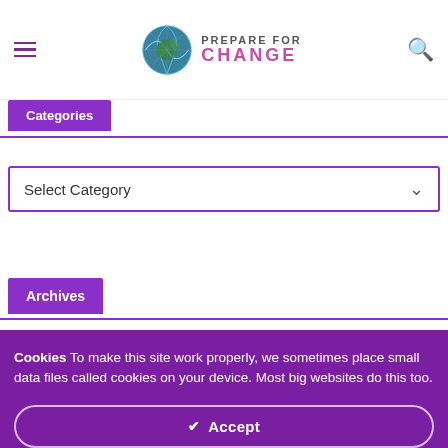Prepare For Change
Categories
Select Category
Archives
Cookies To make this site work properly, we sometimes place small data files called cookies on your device. Most big websites do this too.
✔ Accept
Change Settings ⚙